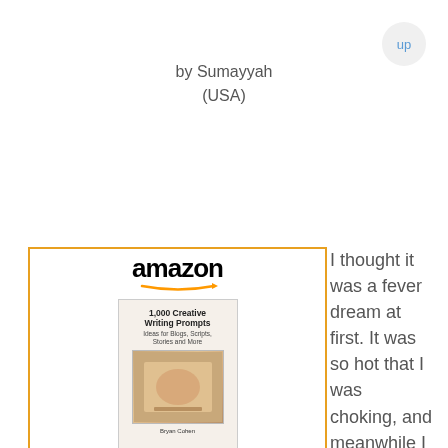up
by Sumayyah
(USA)
[Figure (other): Amazon product widget for '1,000 Creative Writing...' priced at $2.99 with Shop now button]
I thought it was a fever dream at first. It was so hot that I was choking, and meanwhile I was sinking, sinking. I sank through my bed and then the floor, and then through the very dirt. The earth's strata rose up around me, rock and lava and dinosaur bones. I